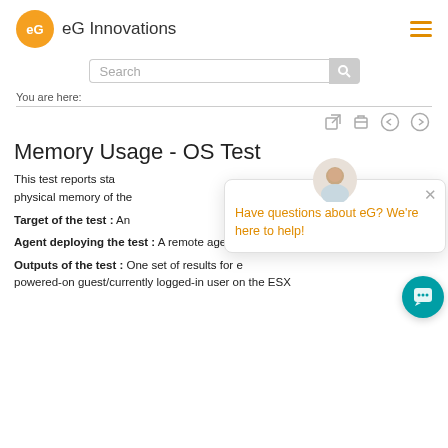eG Innovations
Search
You are here:
Memory Usage - OS Test
This test reports statistics about the physical memory of the...
Target of the test : An...
Agent deploying the test : A remote agent
Outputs of the test : One set of results for each powered-on guest/currently logged-in user on the ESX